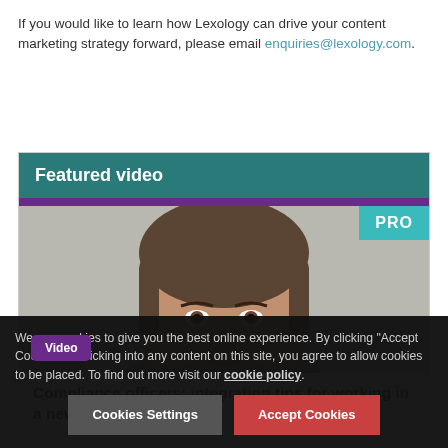If you would like to learn how Lexology can drive your content marketing strategy forward, please email enquiries@lexology.com.
Featured video
[Figure (photo): Headshot of a man with dark hair against a light grey background, with a purple bar at top and a teal PRO badge in the upper right corner. A purple 'Video' badge is in the lower left.]
Compliance officers: integration tips for working in a new culture
We use cookies to give you the best online experience. By clicking "Accept Cookies" or clicking into any content on this site, you agree to allow cookies to be placed. To find out more visit our cookie policy